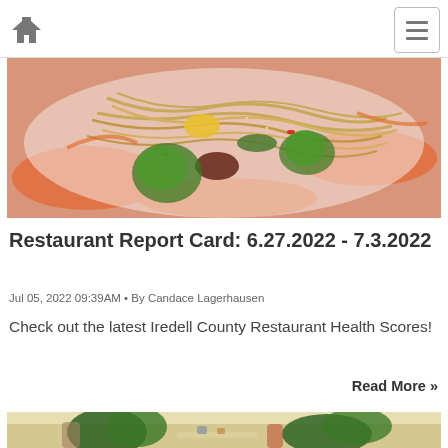[Figure (photo): Close-up photo of a plated Asian noodle dish with vegetables, meat, orange sauce, and cilantro garnish on a white plate]
Restaurant Report Card: 6.27.2022 - 7.3.2022
Jul 05, 2022 09:39AM • By Candace Lagerhausen
Check out the latest Iredell County Restaurant Health Scores!
Read More »
[Figure (photo): Partial view of a restaurant interior with plants and people sitting at tables]